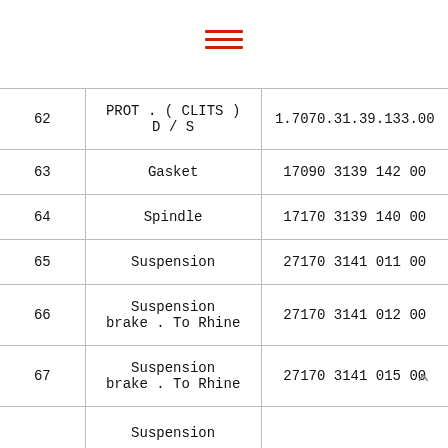≡ (menu/navigation icon)
| # | Name | Code |
| --- | --- | --- |
| 62 | PROT . ( CLITS ) D / S | 1.7070.31.39.133.00 |
| 63 | Gasket | 17090 3139 142 00 |
| 64 | Spindle | 17170 3139 140 00 |
| 65 | Suspension | 27170 3141 011 00 |
| 66 | Suspension brake . To Rhine | 27170 3141 012 00 |
| 67 | Suspension brake . To Rhine | 27170 3141 015 00 |
| 68 | Suspension |  |